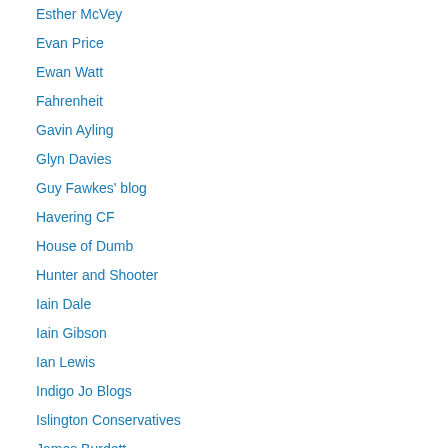Esther McVey
Evan Price
Ewan Watt
Fahrenheit
Gavin Ayling
Glyn Davies
Guy Fawkes' blog
Havering CF
House of Dumb
Hunter and Shooter
Iain Dale
Iain Gibson
Ian Lewis
Indigo Jo Blogs
Islington Conservatives
James Burdett
James Cleverly
James Duddridge MP
the Party, and it falls to us to
As someone who has had to coverage for the Party in their teeth we certainly shouldn't e
Posted by: Richard Carey | 24 Novem
[Figure (illustration): Green square icon with geometric polygon/soccer ball pattern outline in white]
Boring Accountant - Well I've tried desperately to either candidate's policies sin candidate) but I must say one and decide fiscal policy week someone who works in the m simply cannot do it. DC is pr thing to do (I'm not saying the forward a principle and not de putting forward a detailed pol believe in the principles behin what he should be putting for doubt be beaten by the mark said 'you can't buck the mark change in the global market d